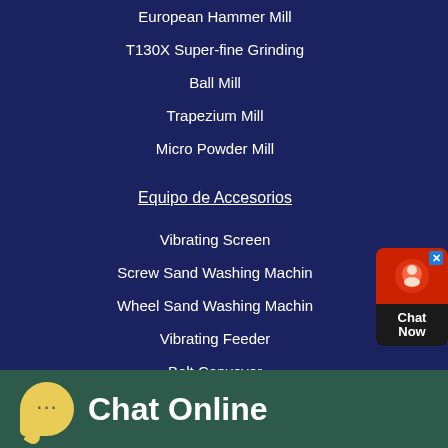European Hammer Mill
T130X Super-fine Grinding
Ball Mill
Trapezium Mill
Micro Powder Mill
Equipo de Accesorios
Vibrating Screen
Screw Sand Washing Machin
Wheel Sand Washing Machin
Vibrating Feeder
Belt Conveyor
Chat Online